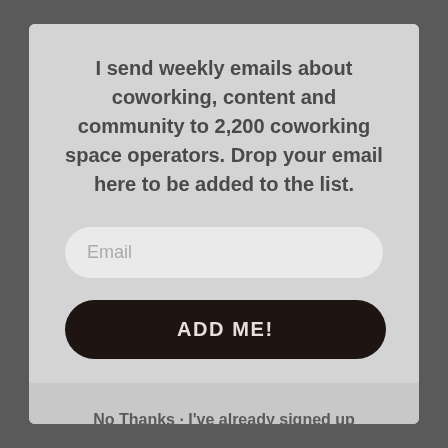I send weekly emails about coworking, content and community to 2,200 coworking space operators. Drop your email here to be added to the list.
[Figure (screenshot): Email input field with placeholder text 'Email' and a dark rounded 'ADD ME!' button below it]
No Thanks · I've already signed up